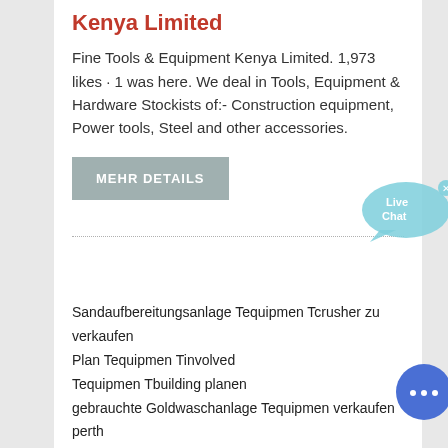Kenya Limited
Fine Tools & Equipment Kenya Limited. 1,973 likes · 1 was here. We deal in Tools, Equipment & Hardware Stockists of:- Construction equipment, Power tools, Steel and other accessories.
MEHR DETAILS
[Figure (illustration): Live Chat speech bubble widget in light blue with 'Live Chat' text and a small X close button]
Sandaufbereitungsanlage Tequipmen Tcrusher zu verkaufen
Plan Tequipmen Tinvolved
Tequipmen Tbuilding planen
gebrauchte Goldwaschanlage Tequipmen verkaufen perth
aglime bes Tequipmen Tto produzieren Tin norton us
[Figure (illustration): Blue circular chat button with ellipsis (three dots) icon]